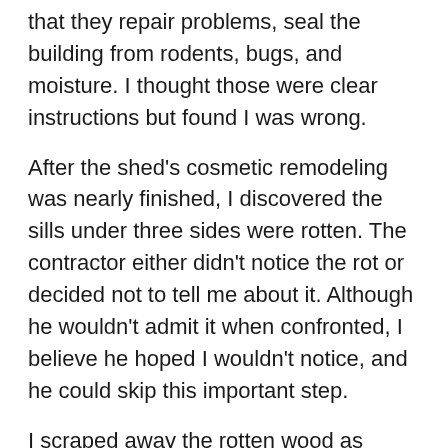that they repair problems, seal the building from rodents, bugs, and moisture. I thought those were clear instructions but found I was wrong.
After the shed's cosmetic remodeling was nearly finished, I discovered the sills under three sides were rotten. The contractor either didn't notice the rot or decided not to tell me about it. Although he wouldn't admit it when confronted, I believe he hoped I wouldn't notice, and he could skip this important step.
I scraped away the rotten wood as much as possible without starting the entire project over and repaired the sills after a fashion with cans of liquid insulation and multiple tubes of calk. This important step should have been done by the contractor before the cosmetic part of the project was accomplished. I learned the hard way to